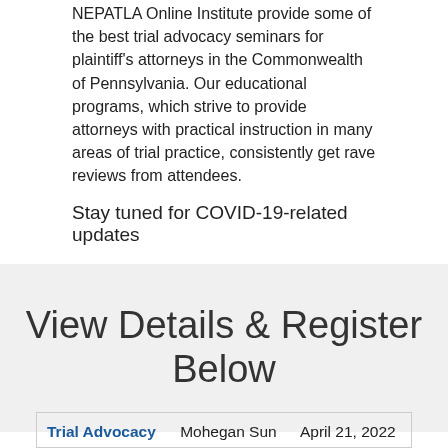NEPATLA Online Institute provide some of the best trial advocacy seminars for plaintiff's attorneys in the Commonwealth of Pennsylvania. Our educational programs, which strive to provide attorneys with practical instruction in many areas of trial practice, consistently get rave reviews from attendees.
Stay tuned for COVID-19-related updates
View Details & Register Below
| Trial Advocacy | Mohegan Sun | April 21, 2022 |
| --- | --- | --- |